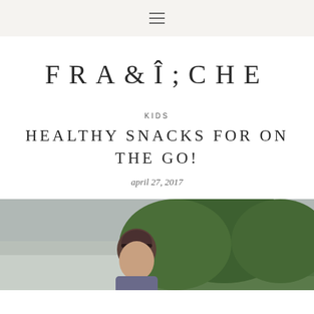☰
FRAÎCHE
KIDS
HEALTHY SNACKS FOR ON THE GO!
april 27, 2017
[Figure (photo): Outdoor photo of a child with dark hair, green trees in background, overcast sky]